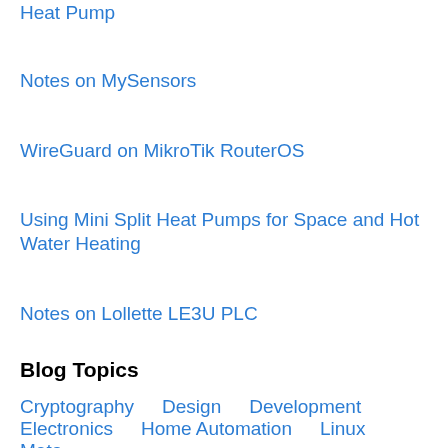Heat Pump
Notes on MySensors
WireGuard on MikroTik RouterOS
Using Mini Split Heat Pumps for Space and Hot Water Heating
Notes on Lollette LE3U PLC
Blog Topics
Cryptography
Design
Development
Electronics
Home Automation
Linux
Meta
Observatory
Passive House
Publishing
Video Player
Website Performance
WordPress